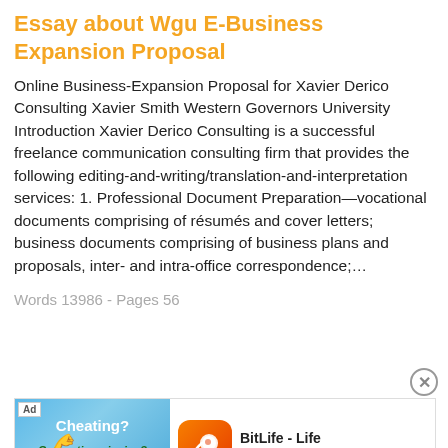Essay about Wgu E-Business Expansion Proposal
Online Business-Expansion Proposal for Xavier Derico Consulting Xavier Smith Western Governors University Introduction Xavier Derico Consulting is a successful freelance communication consulting firm that provides the following editing-and-writing/translation-and-interpretation services: 1. Professional Document Preparation—vocational documents comprising of résumés and cover letters; business documents comprising of business plans and proposals, inter- and intra-office correspondence;…
Words 13986 - Pages 56
[Figure (screenshot): Advertisement banner for BitLife - Life Simulator app, showing a flexed arm emoji graphic with 'Cheating?' and 'Or creative winning?' text on a blue background, alongside the BitLife app icon and name, with an 'Install!' call-to-action button.]